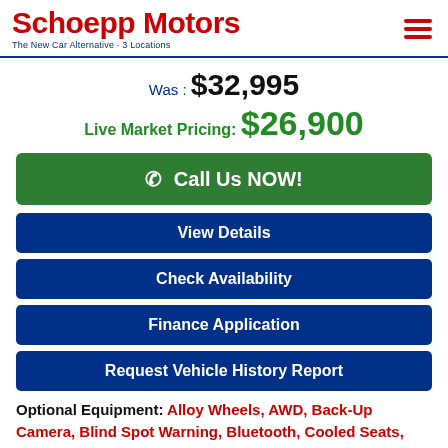Schoepp Motors – The New Car Alternative · 3 Locations
Was : $32,995
Live Market Pricing: $26,900
📞 Call Us NOW!
View Details
Check Availability
Finance Application
Request Vehicle History Report
Optional Equipment: Alloy Wheels, AWD, Back-Up Camera, Blind Spot Warning, Bluetooth, Cooled Seats, Driver Memory Seat, Heated Seats, Heated Steering Wheel, Homelink Garage Door Opener,